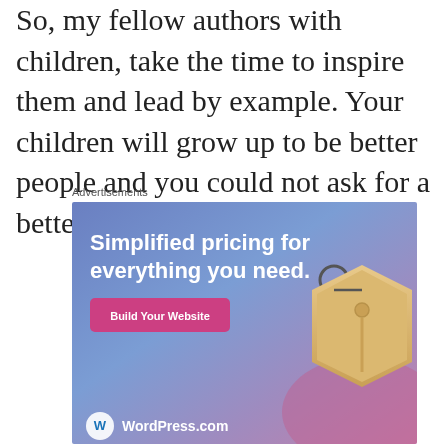So, my fellow authors with children, take the time to inspire them and lead by example. Your children will grow up to be better people and you could not ask for a better legacy.
Advertisements
[Figure (screenshot): WordPress.com advertisement with gradient blue-purple background, price tag illustration, 'Simplified pricing for everything you need.' heading, pink 'Build Your Website' button, and WordPress.com logo at bottom.]